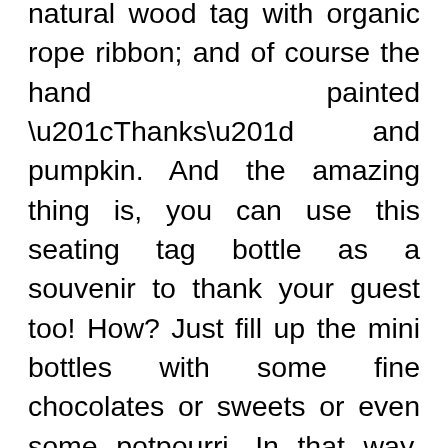natural wood tag with organic rope ribbon; and of course the hand painted “Thanks” and pumpkin. And the amazing thing is, you can use this seating tag bottle as a souvenir to thank your guest too! How? Just fill up the mini bottles with some fine chocolates or sweets or even some potpourri. In that way, you have yourself a seating tag and souvenir in one bottle! Isn’t that great?! Nothing is wasted, but everything is pretty and everyone is happy!